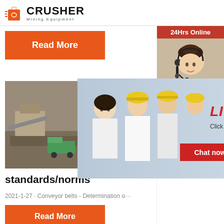CRUSHER Mining Equipment
Read More
[Figure (photo): Live chat popup with construction workers in yellow hard hats and text: LIVE CHAT - Click for a Free Consultation, with Chat now and Chat later buttons]
[Figure (photo): Mining equipment / machinery photo on construction site]
standards/norms
2021-1-27 · Conveyor belts - Determination o...
Read More
[Figure (photo): Customer service representative wearing headset - sidebar panel with 24Hrs Online label]
24Hrs Online
Need questions & suggestion?
Chat Now
Enquiry
limingjlmofen@sina.com